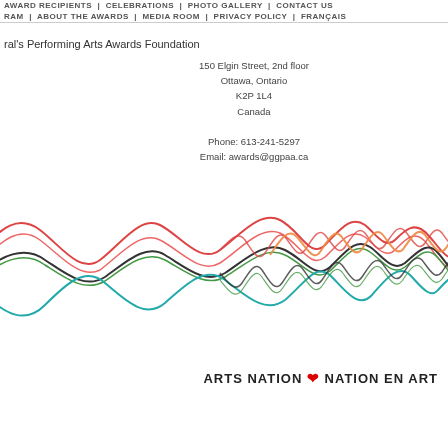AWARD RECIPIENTS | CELEBRATIONS | PHOTO GALLERY | CONTACT US | RAM | ABOUT THE AWARDS | MEDIA ROOM | PRIVACY POLICY | FRANÇAIS
ral's Performing Arts Awards Foundation
150 Elgin Street, 2nd floor
Ottawa, Ontario
K2P 1L4
Canada

Phone: 613-241-5297
Email: awards@ggpaa.ca
[Figure (continuous-plot): Multi-colored wavy/sinusoidal line chart showing several overlapping wave patterns in red, dark grey/black, green, and cyan/blue colors, appearing to show oscillating data over time with increasing frequency toward the right]
ARTS NATION ♦ NATION EN ART